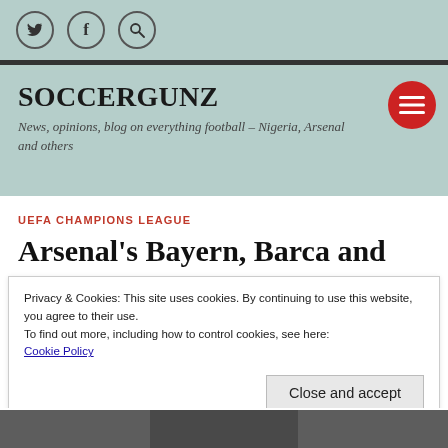Social icons: Twitter, Facebook, Search
SOCCERGUNZ
News, opinions, blog on everything football – Nigeria, Arsenal and others
UEFA CHAMPIONS LEAGUE
Arsenal's Bayern, Barca and D'aston Villa?
Privacy & Cookies: This site uses cookies. By continuing to use this website, you agree to their use.
To find out more, including how to control cookies, see here: Cookie Policy
Close and accept
[Figure (photo): Bottom strip showing a football/soccer photo]